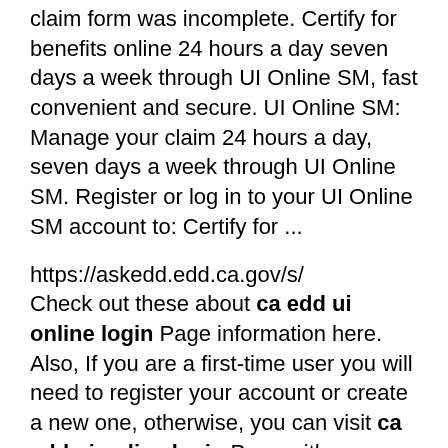claim form was incomplete. Certify for benefits online 24 hours a day seven days a week through UI Online SM, fast convenient and secure. UI Online SM: Manage your claim 24 hours a day, seven days a week through UI Online SM. Register or log in to your UI Online SM account to: Certify for ...
https://askedd.edd.ca.gov/s/
Check out these about ca edd ui online login Page information here. Also, If you are a first-time user you will need to register your account or create a new one, otherwise, you can visit ca edd ui online login Page with your previous login details. These results are more helpful for you as these are anti-checked and also verified by the system.